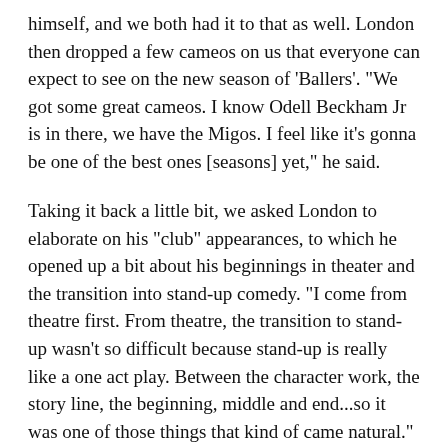himself, and we both had it to that as well. London then dropped a few cameos on us that everyone can expect to see on the new season of 'Ballers'. "We got some great cameos. I know Odell Beckham Jr is in there, we have the Migos. I feel like it's gonna be one of the best ones [seasons] yet," he said.
Taking it back a little bit, we asked London to elaborate on his "club" appearances, to which he opened up a bit about his beginnings in theater and the transition into stand-up comedy. "I come from theatre first. From theatre, the transition to stand-up wasn't so difficult because stand-up is really like a one act play. Between the character work, the story line, the beginning, middle and end...so it was one of those things that kind of came natural."
London then shared the story of how his friend DeRay Davis introduced him to Chris Tucker at the Hollywood